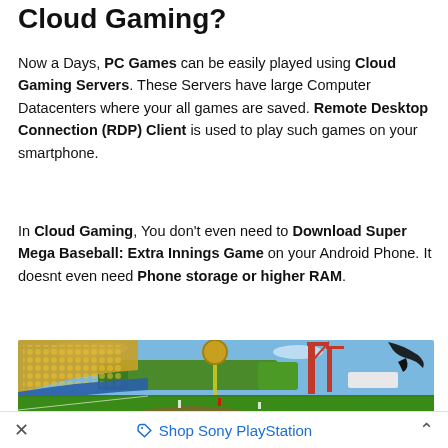Cloud Gaming?
Now a Days, PC Games can be easily played using Cloud Gaming Servers. These Servers have large Computer Datacenters where your all games are saved. Remote Desktop Connection (RDP) Client is used to play such games on your smartphone.
In Cloud Gaming, You don't even need to Download Super Mega Baseball: Extra Innings Game on your Android Phone. It doesnt even need Phone storage or higher RAM.
[Figure (photo): Screenshot of Super Mega Baseball: Extra Innings game showing a stadium with crowd in stands, orange crane structures in background, green baseball field, and animated whale jumping in the sky.]
× Shop Sony PlayStation ^